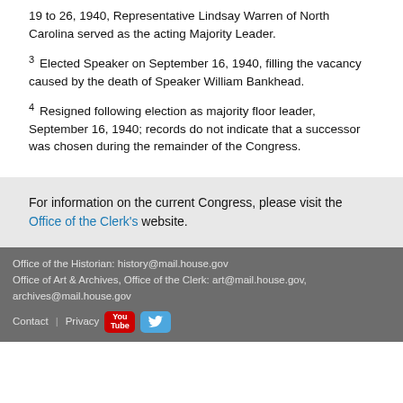19 to 26, 1940, Representative Lindsay Warren of North Carolina served as the acting Majority Leader.
3 Elected Speaker on September 16, 1940, filling the vacancy caused by the death of Speaker William Bankhead.
4 Resigned following election as majority floor leader, September 16, 1940; records do not indicate that a successor was chosen during the remainder of the Congress.
For information on the current Congress, please visit the Office of the Clerk's website.
Office of the Historian: history@mail.house.gov
Office of Art & Archives, Office of the Clerk: art@mail.house.gov, archives@mail.house.gov
Contact | Privacy